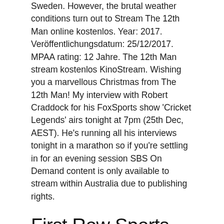Sweden. However, the brutal weather conditions turn out to Stream The 12th Man online kostenlos. Year: 2017. Veröffentlichungsdatum: 25/12/2017. MPAA rating: 12 Jahre. The 12th Man stream kostenlos KinoStream. Wishing you a marvellous Christmas from The 12th Man! My interview with Robert Craddock for his FoxSports show 'Cricket Legends' airs tonight at 7pm (25th Dec, AEST). He's running all his interviews tonight in a marathon so if you're settling in for an evening session SBS On Demand content is only available to stream within Australia due to publishing rights.
First Row Sports with MUCH LESS ADS and better streams! FirstRow Watch Live Football online with Firstrowsports. P2P4U brings you many live football matches. Watch